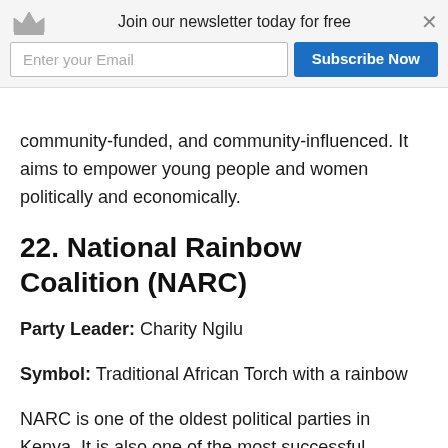[Figure (infographic): Newsletter subscription banner with crown icon, 'Join our newsletter today for free' text, email input field, and 'Subscribe Now' blue button with a close X button]
community-funded, and community-influenced. It aims to empower young people and women politically and economically.
22. National Rainbow Coalition (NARC)
Party Leader: Charity Ngilu
Symbol: Traditional African Torch with a rainbow
NARC is one of the oldest political parties in Kenya. It is also one of the most successful political parties in Kenya. NARC started as an